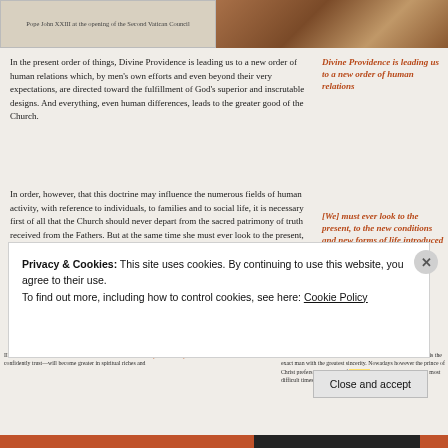[Figure (photo): Top strip: left panel shows caption about Pope John XXIII, right panel shows an ornate religious painting or artwork with warm tones]
In the present order of things, Divine Providence is leading us to a new order of human relations which, by men's own efforts and even beyond their very expectations, are directed toward the fulfillment of God's superior and inscrutable designs. And everything, even human differences, leads to the greater good of the Church.
Divine Providence is leading us to a new order of human relations
In order, however, that this doctrine may influence the numerous fields of human activity, with reference to individuals, to families and to social life, it is necessary first of all that the Church should never depart from the sacred patrimony of truth received from the Fathers. But at the same time she must ever look to the present, to the new conditions and new forms of life introduced into the modern world which have opened new avenues to the Catholic apostolate.
[We] must ever look to the present, to the new conditions and new forms of life introduced into the modern world
Illuminated by the light of this council, the Church—we confidently trust—will become greater in spiritual riches and
[the Church] will look to the future without fear
The Church has always opposed false errors. Propensity for her is the exact man with the greatest sincerity. Nowadays however the prince of Christ prefers to make use of the medicine of mercy
openness to improve the most difficult times, mistakes, and evil
Privacy & Cookies: This site uses cookies. By continuing to use this website, you agree to their use.
To find out more, including how to control cookies, see here: Cookie Policy
Close and accept